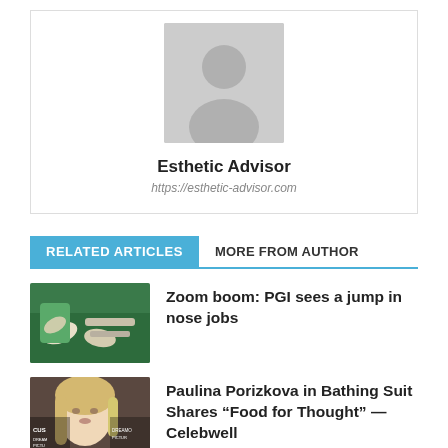[Figure (illustration): Grey placeholder avatar icon with silhouette of a person (head and shoulders) on grey background]
Esthetic Advisor
https://esthetic-advisor.com
RELATED ARTICLES   MORE FROM AUTHOR
[Figure (photo): Photo of surgical procedure with gloved hands in green surgical environment]
Zoom boom: PGI sees a jump in nose jobs
[Figure (photo): Photo of a blonde woman smiling at an event, with text 'CUS' and 'DREAMWORKS PICTURES' partially visible]
Paulina Porizkova in Bathing Suit Shares “Food for Thought” — Celebwell